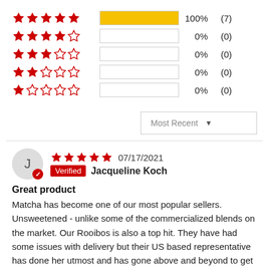[Figure (infographic): Star rating distribution chart showing 5-star through 1-star rows with bars and percentages. 5-star: 100% (7), 4-star: 0% (0), 3-star: 0% (0), 2-star: 0% (0), 1-star: 0% (0).]
Most Recent ▼
J   ★★★★★ 07/17/2021   Verified Jacqueline Koch
Great product
Matcha has become one of our most popular sellers. Unsweetened - unlike some of the commercialized blends on the market. Our Rooibos is also a top hit. They have had some issues with delivery but their US based representative has done her utmost and has gone above and beyond to get the deliveries through to